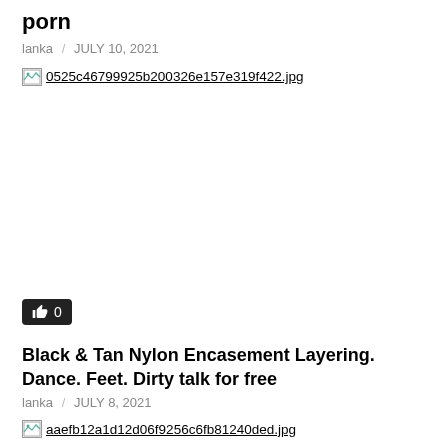porn
lanka / JULY 10, 2021
[Figure (photo): Broken image placeholder showing filename: 0525c46799925b200326e157e319f422.jpg]
0
Black & Tan Nylon Encasement Layering. Dance. Feet. Dirty talk for free
lanka / JULY 8, 2021
[Figure (photo): Broken image placeholder showing filename: aaefb12a1d12d06f9256c6fb81240ded.jpg]